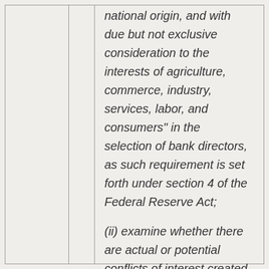national origin, and with due but not exclusive consideration to the interests of agriculture, commerce, industry, services, labor, and consumers" in the selection of bank directors, as such requirement is set forth under section 4 of the Federal Reserve Act; (ii) examine whether there are actual or potential conflicts of interest created when the directors of Federal